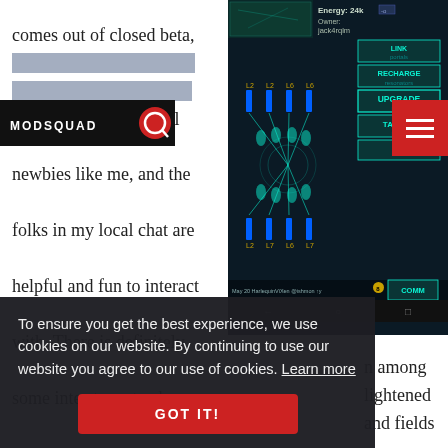comes out of closed beta, but right now the game is still a lot of fun room to play even for low-level newbies like me, and the folks in my local chat are helpful and fun to interact with. There is definitely some inter-team trash-
[Figure (screenshot): Mobile game screenshot showing portal interface with resonators, energy display (Energy: 24k), owner jack4rqlm, portal controls (RECHARGE resonators, UPGRADE portal, TARGET portal, OK), and COMM bar at bottom]
[Figure (logo): ModSquad logo — black background with stylized red Q and white text MODSQUAD]
To ensure you get the best experience, we use cookies on our website. By continuing to use our website you agree to our use of cookies. Learn more
n among
lightened
and fields